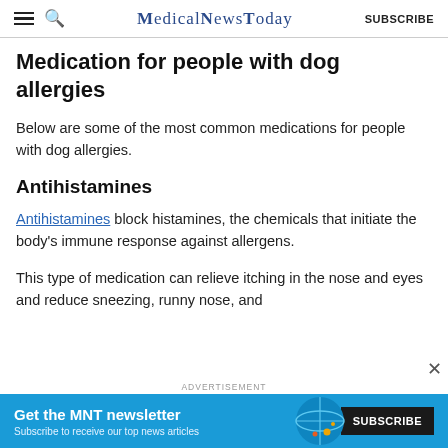MedicalNewsToday
Medication for people with dog allergies
Below are some of the most common medications for people with dog allergies.
Antihistamines
Antihistamines block histamines, the chemicals that initiate the body's immune response against allergens.
This type of medication can relieve itching in the nose and eyes and reduce sneezing, runny nose, and
[Figure (infographic): Advertisement banner: Get the MNT newsletter. Subscribe to receive our top news articles. SUBSCRIBE button. Globe graphic on right.]